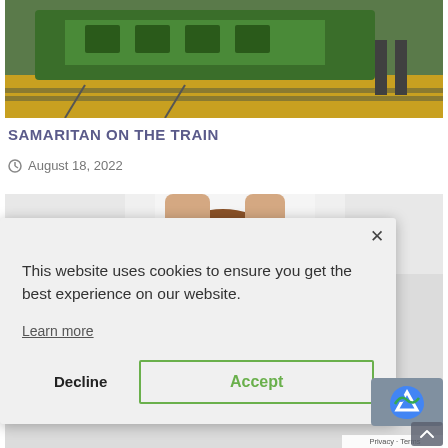[Figure (photo): Train on tracks with yellow platform edge and green locomotive, partial view from platform level]
SAMARITAN ON THE TRAIN
August 18, 2022
[Figure (photo): Jack Russell Terrier dog being held by a person in a white lab coat with a stethoscope, looking at camera]
This website uses cookies to ensure you get the best experience on our website.
Learn more
Decline  Accept